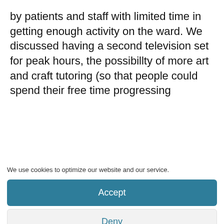by patients and staff with limited time in getting enough activity on the ward. We discussed having a second television set for peak hours, the possibillty of more art and craft tutoring (so that people could spend their free time progressing with their skills) and to have a set timetable that would
We use cookies to optimize our website and our service.
Accept
Deny
Preferences
Cookie Policy   PAVO Privacy Notice